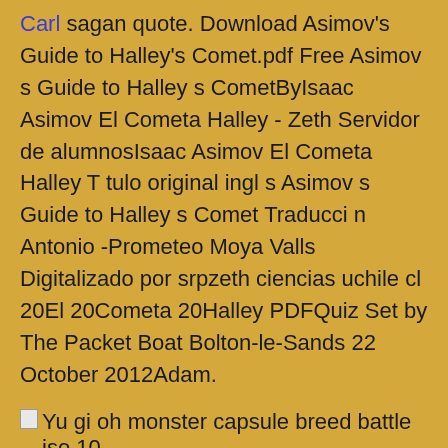Carl sagan quote. Download Asimov's Guide to Halley's Comet.pdf Free Asimov s Guide to Halley s CometByIsaac Asimov El Cometa Halley - Zeth Servidor de alumnosIsaac Asimov El Cometa Halley T tulo original ingl s Asimov s Guide to Halley s Comet Traducci n Antonio -Prometeo Moya Valls Digitalizado por srpzeth ciencias uchile cl 20El 20Cometa 20Halley PDFQuiz Set by The Packet Boat Bolton-le-Sands 22 October 2012Adam.
[Figure (other): Broken image icon for Yu gi oh monster capsule breed battle iso 10]
Thanks a lot!
Yu Gi Oh Capsule Monster Coliseum PS2 Iso free download For PCSX2 Pc and mobile,Yu Gi Oh Capsule Monster Coliseum apk android ppsspp,Yu Gi